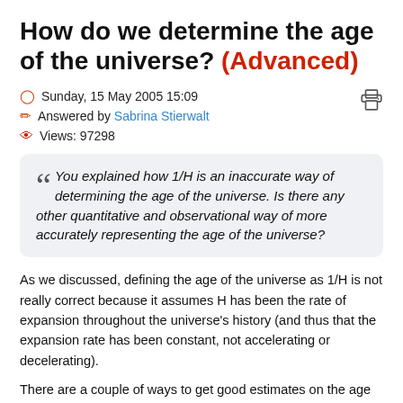How do we determine the age of the universe? (Advanced)
Sunday, 15 May 2005 15:09
Answered by Sabrina Stierwalt
Views: 97298
You explained how 1/H is an inaccurate way of determining the age of the universe. Is there any other quantitative and observational way of more accurately representing the age of the universe?
As we discussed, defining the age of the universe as 1/H is not really correct because it assumes H has been the rate of expansion throughout the universe's history (and thus that the expansion rate has been constant, not accelerating or decelerating).
There are a couple of ways to get good estimates on the age of the